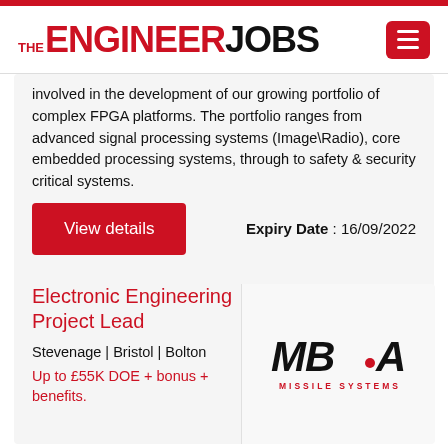THE ENGINEER JOBS
involved in the development of our growing portfolio of complex FPGA platforms. The portfolio ranges from advanced signal processing systems (Image\Radio), core embedded processing systems, through to safety & security critical systems.
Expiry Date : 16/09/2022
View details
Electronic Engineering Project Lead
Stevenage | Bristol | Bolton
Up to £55K DOE + bonus + benefits.
[Figure (logo): MBDA Missile Systems logo]